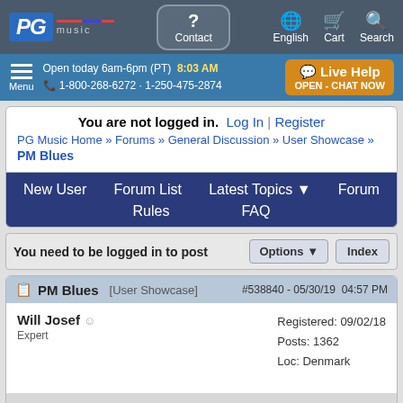PG music | Contact | English | Cart | Search
Menu | Open today 6am-6pm (PT) 8:03 AM | 1-800-268-6272 · 1-250-475-2874 | Live Help OPEN - CHAT NOW
You are not logged in. Log In | Register
PG Music Home » Forums » General Discussion » User Showcase » PM Blues
New User  Forum List  Latest Topics  Forum Rules  FAQ
You need to be logged in to post  Options  Index
PM Blues  [User Showcase]  #538840 - 05/30/19  04:57 PM
Will Josef  Expert  Registered: 09/02/18  Posts: 1362  Loc: Denmark